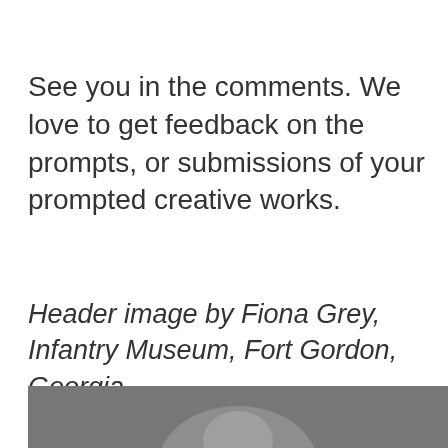See you in the comments. We love to get feedback on the prompts, or submissions of your prompted creative works.
Header image by Fiona Grey, Infantry Museum, Fort Gordon, Georgia.
Privacy & Cookies: This site uses cookies. By continuing to use this website, you agree to their use.
To find out more, including how to control cookies, see here:
Cookie Policy
Close and accept
[Figure (photo): Partial view of a person's face/head at the bottom of the page, grayscale photo]